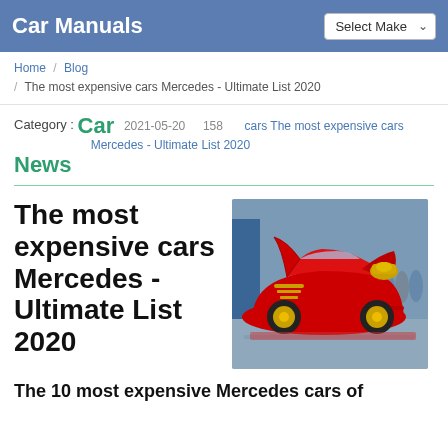Car Manuals   Select Make
Home / Blog / The most expensive cars Mercedes - Ultimate List 2020
Category : Car News   2021-05-20   158   cars The most expensive cars Mercedes - Ultimate List 2020
The most expensive cars Mercedes - Ultimate List 2020
[Figure (photo): A red Mercedes sports car with gold trim, doors open, engine visible, displayed at a car show with spectators in the background.]
The 10 most expensive Mercedes cars of